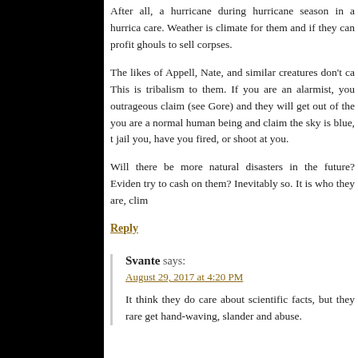After all, a hurricane during hurricane season in a hurricane care. Weather is climate for them and if they can profit ghouls to sell corpses.
The likes of Appell, Nate, and similar creatures don't ca. This is tribalism to them. If you are an alarmist, you outrageous claim (see Gore) and they will get out of the you are a normal human being and claim the sky is blue, t jail you, have you fired, or shoot at you.
Will there be more natural disasters in the future? Eviden try to cash on them? Inevitably so. It is who they are, clim
Reply
Svante says:
August 29, 2017 at 4:20 PM
It think they do care about scientific facts, but they rare get hand-waving, slander and abuse.